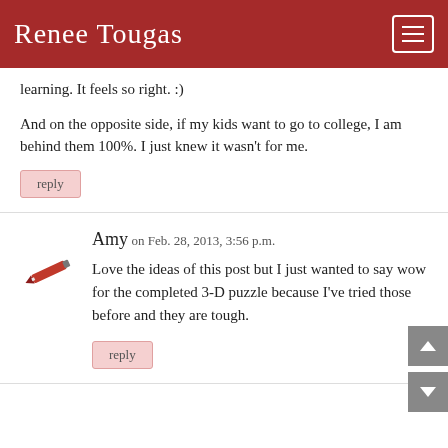Renee Tougas
learning. It feels so right. :)
And on the opposite side, if my kids want to go to college, I am behind them 100%. I just knew it wasn't for me.
reply
Amy on Feb. 28, 2013, 3:56 p.m.
Love the ideas of this post but I just wanted to say wow for the completed 3-D puzzle because I've tried those before and they are tough.
reply